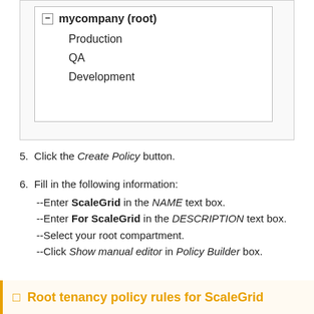[Figure (screenshot): A tree-view UI widget showing 'mycompany (root)' as the root node with a minus/collapse icon, and child nodes Production, QA, and Development indented beneath it.]
5. Click the Create Policy button.
6. Fill in the following information: --Enter ScaleGrid in the NAME text box. --Enter For ScaleGrid in the DESCRIPTION text box. --Select your root compartment. --Click Show manual editor in Policy Builder box.
Root tenancy policy rules for ScaleGrid